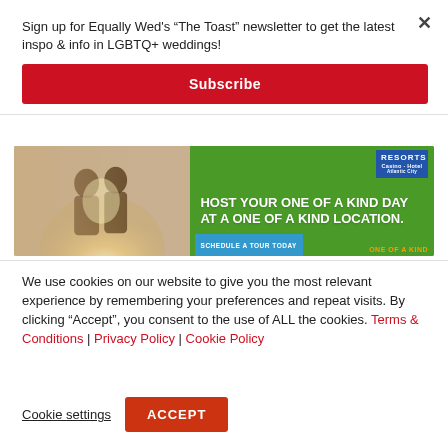Sign up for Equally Wed's “The Toast” newsletter to get the latest inspo & info in LGBTQ+ weddings!
Subscribe
[Figure (photo): Advertisement banner for Resorts featuring a couple and text: HOST YOUR ONE OF A KIND DAY AT A ONE OF A KIND LOCATION. SCHEDULE A TOUR TODAY | ONE OF A KIND]
We use cookies on our website to give you the most relevant experience by remembering your preferences and repeat visits. By clicking “Accept”, you consent to the use of ALL the cookies. Terms & Conditions | Privacy Policy | Cookie Policy
Cookie settings
ACCEPT